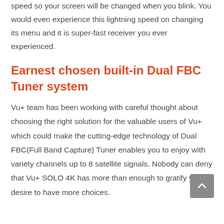speed so your screen will be changed when you blink. You would even experience this lightning speed on changing its menu and it is super-fast receiver you ever experienced.
Earnest chosen built-in Dual FBC Tuner system
Vu+ team has been working with careful thought about choosing the right solution for the valuable users of Vu+ which could make the cutting-edge technology of Dual FBC(Full Band Capture) Tuner enables you to enjoy with variety channels up to 8 satellite signals. Nobody can deny that Vu+ SOLO 4K has more than enough to gratify your desire to have more choices.